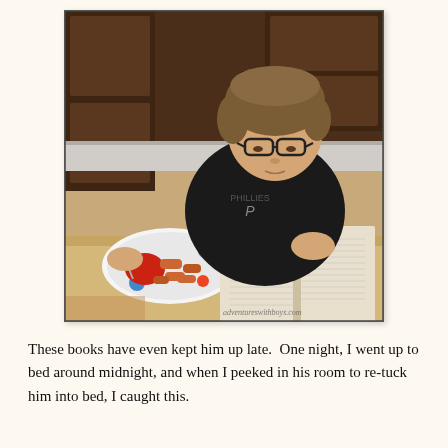[Figure (photo): A young boy with glasses wearing a black Philadelphia Phillies t-shirt, sitting at a kitchen table, reading an open book next to a colorful plate of food with ketchup. Kitchen cabinets and a chair visible in the background. Watermark reads adventureswithboys.com.]
These books have even kept him up late.  One night, I went up to bed around midnight, and when I peeked in his room to re-tuck him into bed, I caught this.